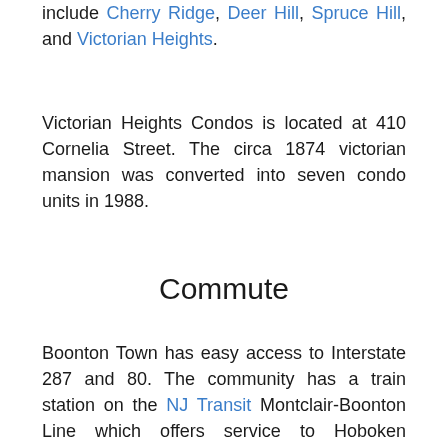include Cherry Ridge, Deer Hill, Spruce Hill, and Victorian Heights.
Victorian Heights Condos is located at 410 Cornelia Street. The circa 1874 victorian mansion was converted into seven condo units in 1988.
Commute
Boonton Town has easy access to Interstate 287 and 80. The community has a train station on the NJ Transit Montclair-Boonton Line which offers service to Hoboken Terminal. Passengers can transfer to another train or bus before Hoboken for a Midtown